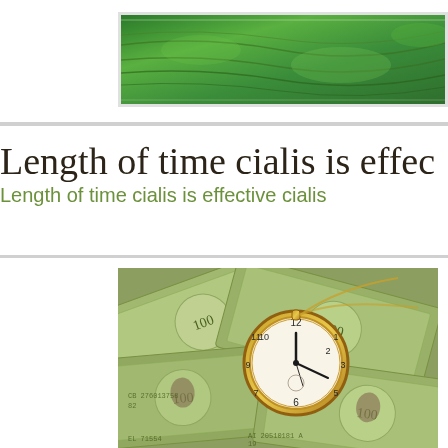[Figure (photo): Aerial view of green terraced fields/farmland, cropped at top of page, partially visible]
Length of time cialis is effec
Length of time cialis is effective cialis
[Figure (photo): Pile of US $100 dollar bills with a gold pocket watch on top]